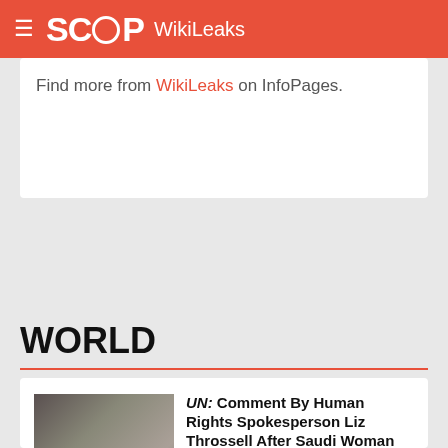SCOOP WikiLeaks
Find more from WikiLeaks on InfoPages.
WORLD
UN: Comment By Human Rights Spokesperson Liz Throssell After Saudi Woman Jailed For 34 Years
We are appalled by the sentencing of Saudi doctoral student Salma Al-Shehab to 34 years in jail followed by a 34-year travel ban in connection with a series of tweets and retweets on political and human rights issues in Saudi Arabia...